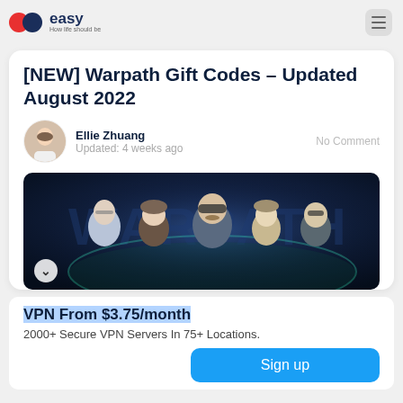easy — How life should be
[NEW] Warpath Gift Codes – Updated August 2022
Ellie Zhuang
Updated: 4 weeks ago
No Comment
[Figure (screenshot): Warpath game banner showing multiple military-themed animated characters against a dark sci-fi background with the word WARPATH visible.]
VPN From $3.75/month
2000+ Secure VPN Servers In 75+ Locations.
Sign up